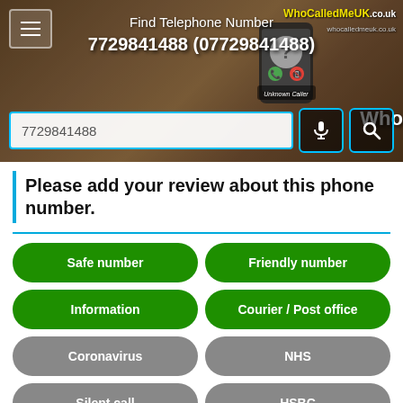[Figure (screenshot): Hero banner of WhoCalledMeUK.co.uk website showing a phone with 'Unknown Caller' screen, search input with '7729841488', microphone and search icon buttons]
Please add your review about this phone number.
Safe number
Friendly number
Information
Courier / Post office
Coronavirus
NHS
Silent call
HSBC